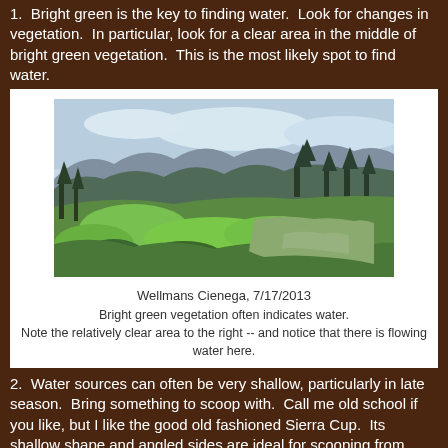1.  Bright green is the key to finding water.  Look for changes in vegetation.  In particular, look for a clear area in the middle of bright green vegetation.  This is the most likely spot to find water.
[Figure (photo): Landscape photo showing bright green meadow vegetation with trees and mountains in background, labeled Wellmans Cienega, 7/17/2013]
Wellmans Cienega, 7/17/2013
Bright green vegetation often indicates water.
Note the relatively clear area to the right -- and notice that there is flowing water here.
2.  Water sources can often be very shallow, particularly in late season.  Bring something to scoop with.  Call me old school if you like, but I like the good old fashioned Sierra Cup.  Its shallow shape and angled sides are ideal for scooping from shallow water sources.
[Figure (photo): Partial photo visible at the bottom of the page showing a water source scene]